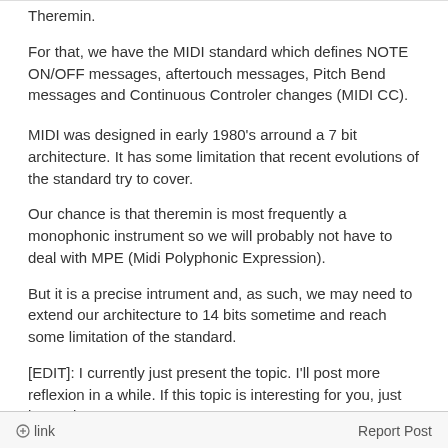Theremin.
For that, we have the MIDI standard which defines NOTE ON/OFF messages, aftertouch messages, Pitch Bend messages and Continuous Controler changes (MIDI CC).
MIDI was designed in early 1980's arround a 7 bit architecture. It has some limitation that recent evolutions of the standard try to cover.
Our chance is that theremin is most frequently a monophonic instrument so we will probably not have to deal with MPE (Midi Polyphonic Expression).
But it is a precise intrument and, as such, we may need to extend our architecture to 14 bits sometime and reach some limitation of the standard.
[EDIT]: I currently just present the topic. I'll post more reflexion in a while. If this topic is interesting for you, just let me know...
link   Report Post